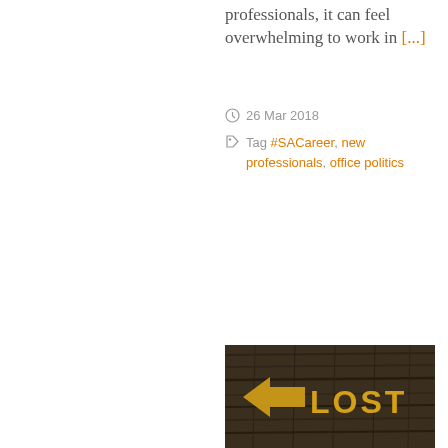professionals, it can feel overwhelming to work in [...]
26 Mar 2018
Tag #SACareer, new professionals, office politics
[Figure (photo): Photograph of a weathered wooden sign with yellow lettering, partially visible at bottom of page]